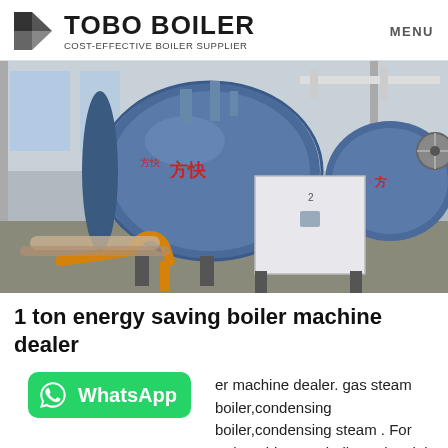TOBO BOILER — COST-EFFECTIVE BOILER SUPPLIER | MENU
[Figure (photo): Industrial boiler facility showing large blue cylindrical gas steam boilers with Chinese text markings, piping, and a white rectangular control cabinet, inside a factory building.]
1 ton energy saving boiler machine dealer
er machine dealer. gas steam boiler,condensing boiler,condensing steam . For Sale 2t biomass boiler Industrial Myanmar. Myanmar gas fired